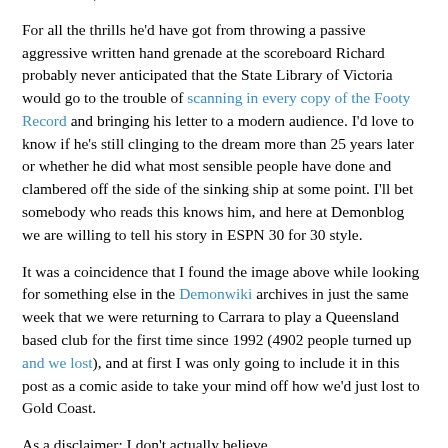charismatic) Carrara scoreboard.
For all the thrills he'd have got from throwing a passive aggressive written hand grenade at the scoreboard Richard probably never anticipated that the State Library of Victoria would go to the trouble of scanning in every copy of the Footy Record and bringing his letter to a modern audience. I'd love to know if he's still clinging to the dream more than 25 years later or whether he did what most sensible people have done and clambered off the side of the sinking ship at some point. I'll bet somebody who reads this knows him, and here at Demonblog we are willing to tell his story in ESPN 30 for 30 style.
It was a coincidence that I found the image above while looking for something else in the Demonwiki archives in just the same week that we were returning to Carrara to play a Queensland based club for the first time since 1992 (4902 people turned up and we lost), and at first I was only going to include it in this post as a comic aside to take your mind off how we'd just lost to Gold Coast.
As a disclaimer: I don't actually believe...